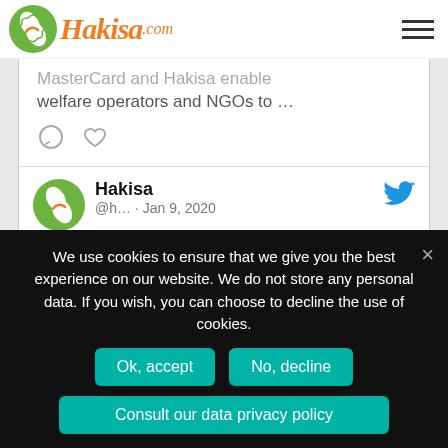Hakisa.com
MasterCard and Hakisa enable welfare operators and NGOs to …
[Figure (screenshot): Tweet from Hakisa (@h...) dated Jan 9, 2020 with Twitter bird icon. Text: 🥁This week the #HakisaTeam presents you… Morgane, project manager at #HakisaGmbH ! 😀➡️SOON hakisa.com/en/blog/hakisa…]
We use cookies to ensure that we give you the best experience on our website. We do not store any personal data. If you wish, you can choose to decline the use of cookies.
Ok, accept
No, decline
Consult our data privacy policy